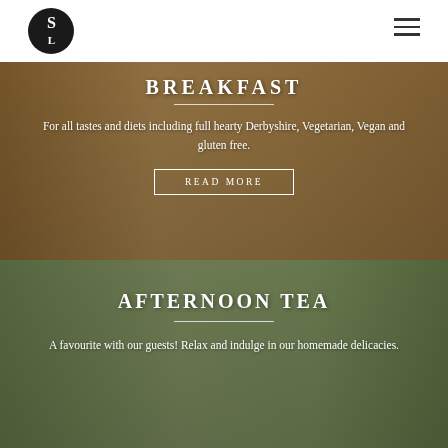SL logo and hamburger navigation menu
[Figure (photo): Photo of a breakfast room with leather sofas and dining area in warm tones]
BREAKFAST
For all tastes and diets including full hearty Derbyshire, Vegetarian, Vegan and gluten free.
READ MORE
[Figure (photo): Photo of an afternoon tea spread with sandwiches, scones and pastries on a tiered stand]
AFTERNOON TEA
A favourite with our guests! Relax and indulge in our homemade delicacies.